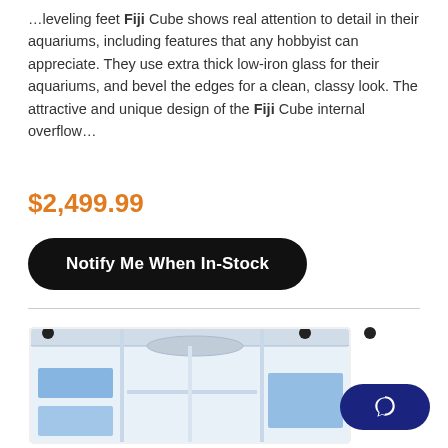…leveling feet Fiji Cube shows real attention to detail in their aquariums, including features that any hobbyist can appreciate. They use extra thick low-iron glass for their aquariums, and bevel the edges for a clean, classy look. The attractive and unique design of the Fiji Cube internal overflow…
$2,499.99
Notify Me When In-Stock
[Figure (photo): Fiji Cube aquarium sump/filter system with clear acrylic construction, blue compartment dividers, and black fittings on top, viewed from a 3/4 angle]
[Figure (other): Dark navy blue chat/support button with speech bubble icon in the bottom right corner]